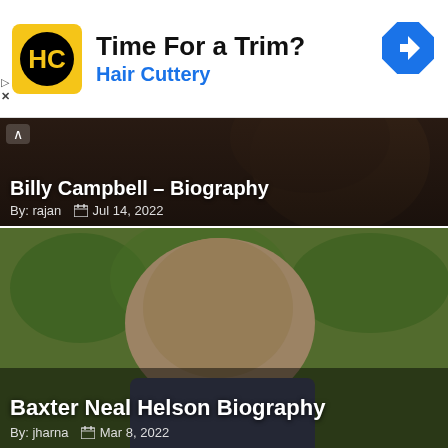[Figure (other): Hair Cuttery advertisement banner with logo, text 'Time For a Trim? Hair Cuttery', navigation arrow icon]
[Figure (photo): Billy Campbell biography article card with dark photo background showing a man's face close-up]
Billy Campbell – Biography
By: rajan   Jul 14, 2022
[Figure (photo): Baxter Neal Helson biography article card with photo of middle-aged man looking sideways, outdoor background]
Baxter Neal Helson Biography
By: jharna   Mar 8, 2022